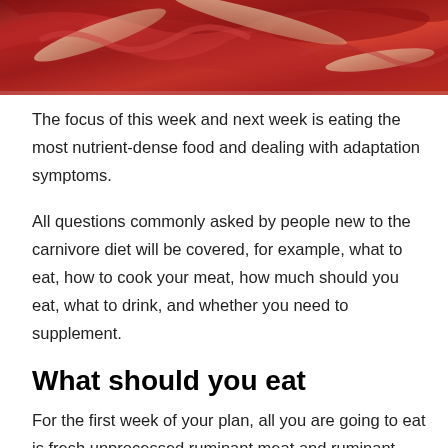[Figure (photo): Close-up photo of raw red meat with marbling, top portion of page]
The focus of this week and next week is eating the most nutrient-dense food and dealing with adaptation symptoms.
All questions commonly asked by people new to the carnivore diet will be covered, for example, what to eat, how to cook your meat, how much should you eat, what to drink, and whether you need to supplement.
What should you eat
For the first week of your plan, all you are going to eat is fresh unprocessed ruminant meat and ruminant